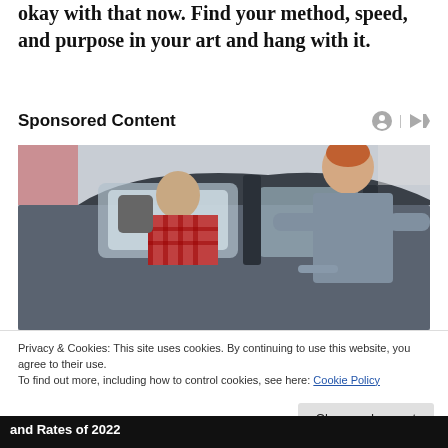okay with that now. Find your method, speed, and purpose in your art and hang with it.
Sponsored Content
[Figure (photo): Two men at a car dealership — a salesman leaning into a car window talking to a seated customer]
Privacy & Cookies: This site uses cookies. By continuing to use this website, you agree to their use.
To find out more, including how to control cookies, see here: Cookie Policy
Close and accept
and Rates of 2022